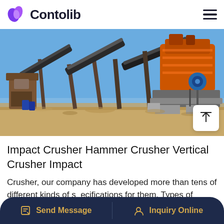Contolib
[Figure (photo): Industrial crusher and conveyor belt machinery at an outdoor mining/quarrying site. A large orange impact crusher is visible on the right, with steel conveyor belts and structural framework in a desert/arid environment under a blue sky.]
Impact Crusher Hammer Crusher Vertical Crusher Impact
Crusher, our company has developed more than tens of different kinds of specifications for them. Types of
Send Message   Inquiry Online